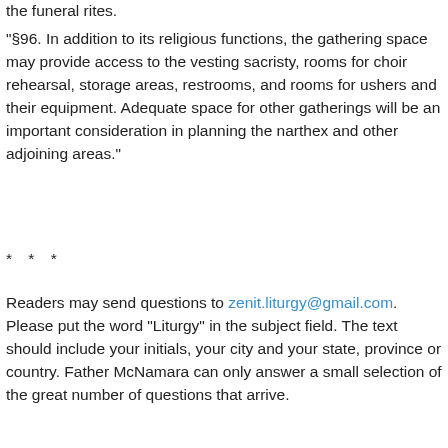the funeral rites.
"§96. In addition to its religious functions, the gathering space may provide access to the vesting sacristy, rooms for choir rehearsal, storage areas, restrooms, and rooms for ushers and their equipment. Adequate space for other gatherings will be an important consideration in planning the narthex and other adjoining areas."
* * *
Readers may send questions to zenit.liturgy@gmail.com. Please put the word "Liturgy" in the subject field. The text should include your initials, your city and your state, province or country. Father McNamara can only answer a small selection of the great number of questions that arrive.